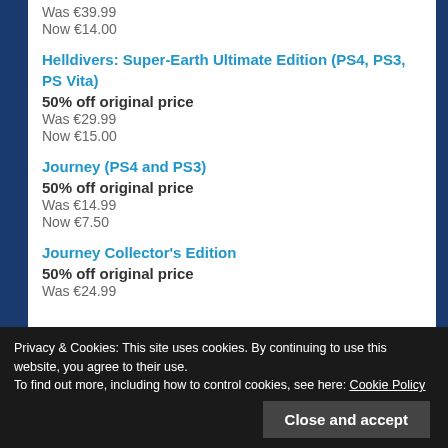Was €39.99
Now €14.00
Helldivers: Super-Earth Ultimate Edition (PS4, PS3, PS Vita)
50% off original price
Was €29.99
Now €15.00
Journey (PS4 and PS3)
50% off original price
Was €14.99
Now €7.50
Journey Collector's Edition
50% off original price
Was €24.99
Privacy & Cookies: This site uses cookies. By continuing to use this website, you agree to their use. To find out more, including how to control cookies, see here: Cookie Policy
Close and accept
Resistance: Burning Skies